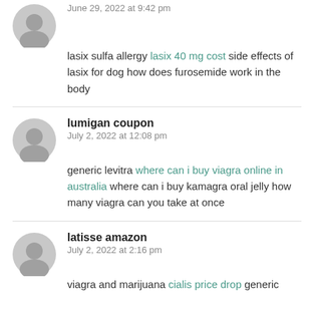[Figure (illustration): Gray avatar silhouette icon (person placeholder)]
June 29, 2022 at 9:42 pm
lasix sulfa allergy lasix 40 mg cost side effects of lasix for dog how does furosemide work in the body
[Figure (illustration): Gray avatar silhouette icon (person placeholder)]
lumigan coupon
July 2, 2022 at 12:08 pm
generic levitra where can i buy viagra online in australia where can i buy kamagra oral jelly how many viagra can you take at once
[Figure (illustration): Gray avatar silhouette icon (person placeholder)]
latisse amazon
July 2, 2022 at 2:16 pm
viagra and marijuana cialis price drop generic